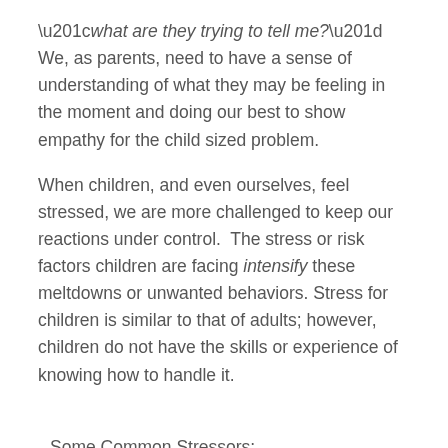“what are they trying to tell me?”  We, as parents, need to have a sense of understanding of what they may be feeling in the moment and doing our best to show empathy for the child sized problem.
When children, and even ourselves, feel stressed, we are more challenged to keep our reactions under control.  The stress or risk factors children are facing intensify these meltdowns or unwanted behaviors.  Stress for children is similar to that of adults; however, children do not have the skills or experience of knowing how to handle it.
Some Common Stressors:
Health challenges